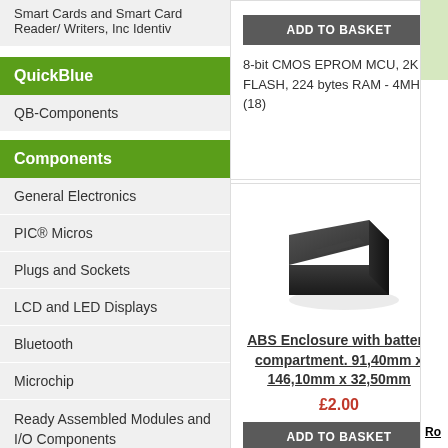Smart Cards and Smart Card Reader/ Writers, Inc Identiv
QuickBlue
QB-Components
Components
General Electronics
PIC® Micros
Plugs and Sockets
LCD and LED Displays
Bluetooth
Microchip
Ready Assembled Modules and I/O Components
Surface Mount Components
8-bit CMOS EPROM MCU, 2K FLASH, 224 bytes RAM - 4MHz (18)
[Figure (photo): ABS Enclosure black box product photo]
ABS Enclosure with battery compartment. 91,40mm x 146,10mm x 32,50mm
£2.00
Hammond ABS Black Enclosure